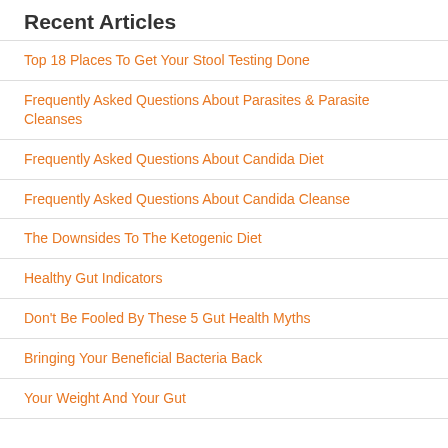Recent Articles
Top 18 Places To Get Your Stool Testing Done
Frequently Asked Questions About Parasites & Parasite Cleanses
Frequently Asked Questions About Candida Diet
Frequently Asked Questions About Candida Cleanse
The Downsides To The Ketogenic Diet
Healthy Gut Indicators
Don't Be Fooled By These 5 Gut Health Myths
Bringing Your Beneficial Bacteria Back
Your Weight And Your Gut